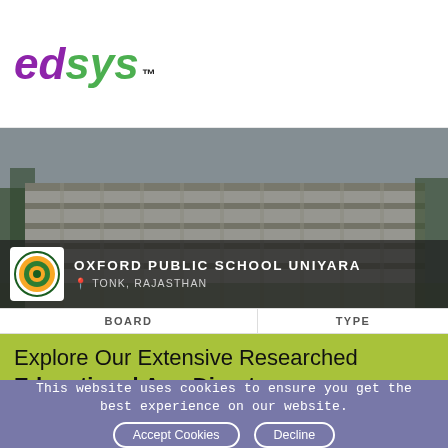[Figure (logo): edsys brand logo with purple 'ed' and green 'sys' text in italic bold, with TM superscript]
[Figure (photo): Oxford Public School Uniyara building exterior photograph, multi-storey modernist school building with trees]
OXFORD PUBLIC SCHOOL UNIYARA
TONK, RAJASTHAN
| BOARD | TYPE |
| --- | --- |
Explore Our Extensive Researched Educational App Directory
This website uses cookies to ensure you get the best experience on our website.
Accept Cookies
Decline